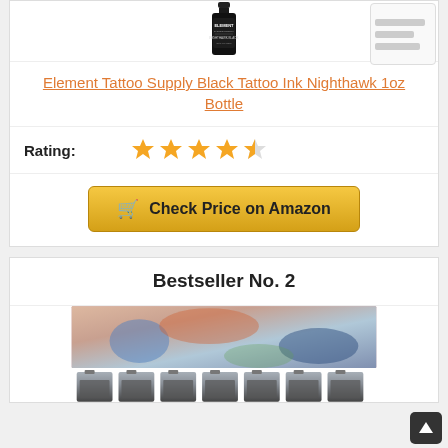[Figure (photo): Black tattoo ink bottle labeled 'Element Tattoo Supply Nighthawk Black']
Element Tattoo Supply Black Tattoo Ink Nighthawk 1oz Bottle
Rating: ★★★★½
Check Price on Amazon
Bestseller No. 2
[Figure (photo): Woman with colorful tattoos on her arms and chest, with a row of ink bottles below]